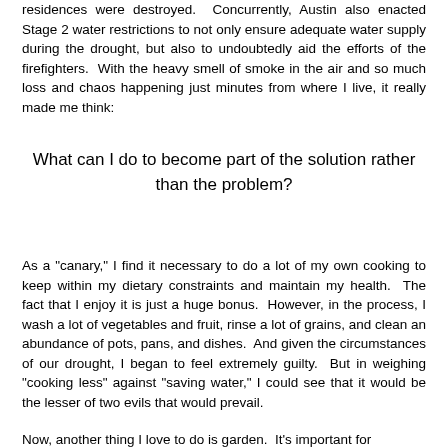residences were destroyed. Concurrently, Austin also enacted Stage 2 water restrictions to not only ensure adequate water supply during the drought, but also to undoubtedly aid the efforts of the firefighters. With the heavy smell of smoke in the air and so much loss and chaos happening just minutes from where I live, it really made me think:
What can I do to become part of the solution rather than the problem?
As a "canary," I find it necessary to do a lot of my own cooking to keep within my dietary constraints and maintain my health. The fact that I enjoy it is just a huge bonus. However, in the process, I wash a lot of vegetables and fruit, rinse a lot of grains, and clean an abundance of pots, pans, and dishes. And given the circumstances of our drought, I began to feel extremely guilty. But in weighing "cooking less" against "saving water," I could see that it would be the lesser of two evils that would prevail.
Now, another thing I love to do is garden. It's important for